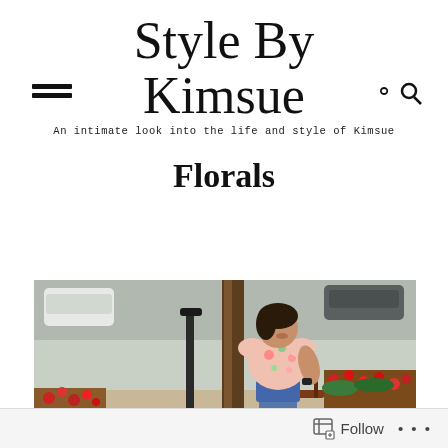Style By Kimsue
An intimate look into the life and style of Kimsue
Florals
[Figure (photo): Woman wearing a floral off-shoulder top and denim shorts, standing outdoors near a tree, brick flower beds with red flowers visible in background, parked cars in the background.]
Follow   ...